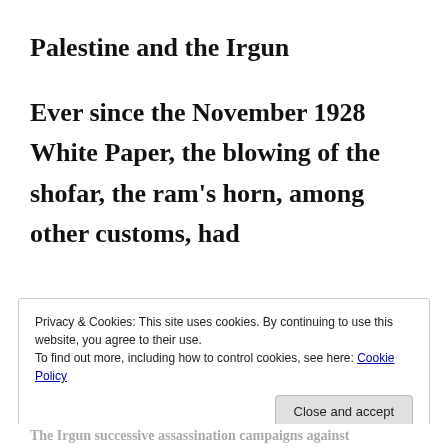Palestine and the Irgun
Ever since the November 1928 White Paper, the blowing of the shofar, the ram's horn, among other customs, had
Privacy & Cookies: This site uses cookies. By continuing to use this website, you agree to their use.
To find out more, including how to control cookies, see here: Cookie Policy
Close and accept
The Irgun successive assassination campaigns against